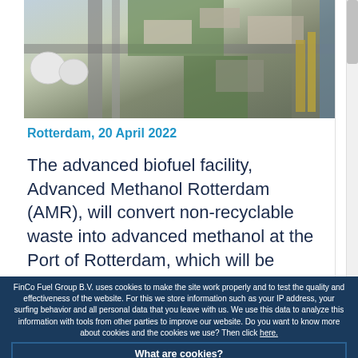[Figure (photo): Aerial view of an industrial port facility with storage tanks, roads, warehouses, and waterway visible from above]
Rotterdam, 20 April 2022
The advanced biofuel facility, Advanced Methanol Rotterdam (AMR), will convert non-recyclable waste into advanced methanol at the Port of Rotterdam, which will be purchased by…
FinCo Fuel Group B.V. uses cookies to make the site work properly and to test the quality and effectiveness of the website. For this we store information such as your IP address, your surfing behavior and all personal data that you leave with us. We use this data to analyze this information with tools from other parties to improve our website. Do you want to know more about cookies and the cookies we use? Then click here.